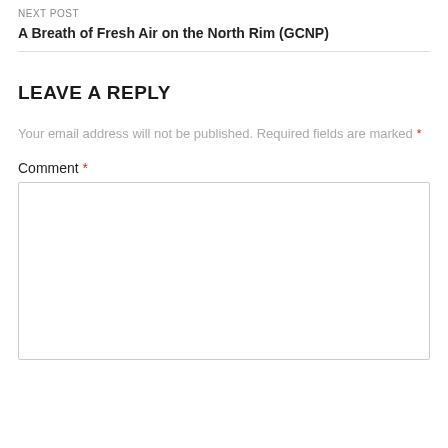NEXT POST
A Breath of Fresh Air on the North Rim (GCNP)
LEAVE A REPLY
Your email address will not be published. Required fields are marked *
Comment *